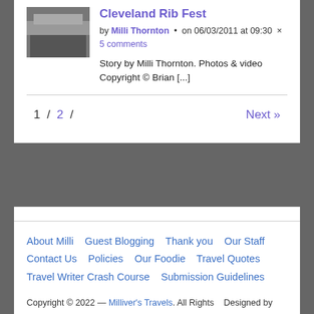[Figure (photo): Thumbnail photo of Cleveland Rib Fest event]
Cleveland Rib Fest
by Milli Thornton · on 06/03/2011 at 09:30 × 5 comments
Story by Milli Thornton. Photos & video Copyright © Brian [...]
1 / 2 / Next »
About Milli  Guest Blogging  Thank you  Our Staff  Contact Us  Policies  Our Foodie  Travel Quotes  Travel Writer Crash Course  Submission Guidelines
Copyright © 2022 — Milliver's Travels. All Rights Reserved. Designed by WPZOOM